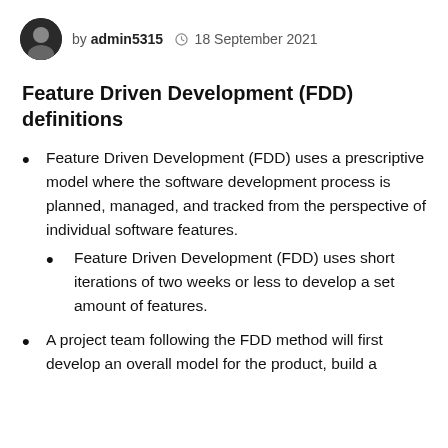by admin5315  18 September 2021
Feature Driven Development (FDD) definitions
Feature Driven Development (FDD) uses a prescriptive model where the software development process is planned, managed, and tracked from the perspective of individual software features.
Feature Driven Development (FDD) uses short iterations of two weeks or less to develop a set amount of features.
A project team following the FDD method will first develop an overall model for the product, build a